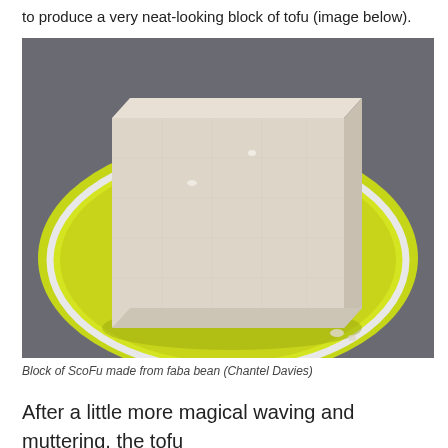to produce a very neat-looking block of tofu (image below).
[Figure (photo): A rectangular block of light grey/beige ScoFu (tofu made from faba bean) sitting on a round yellow-green plate against a dark grey background.]
Block of ScoFu made from faba bean (Chantel Davies)
After a little more magical waving and muttering, the tofu